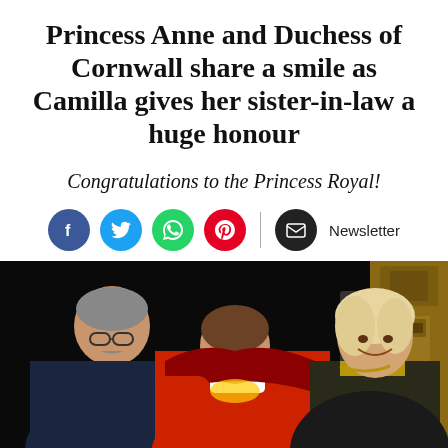Princess Anne and Duchess of Cornwall share a smile as Camilla gives her sister-in-law a huge honour
Congratulations to the Princess Royal!
[Figure (infographic): Social media sharing icons: Facebook (blue), Twitter (light blue), WhatsApp (green), Pinterest (red), Newsletter (black envelope) with label 'Newsletter']
[Figure (photo): A ceremony photo showing a man in dark academic robes helping Princess Anne in a red academic robe receive an honour on stage, while Camilla (Duchess of Cornwall) in academic robes smiles in the background near a wooden ceremonial chair/lectern against a dark background.]